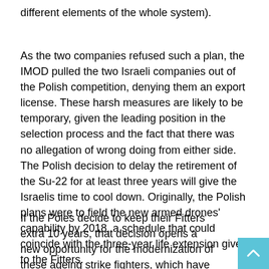different elements of the whole system).
As the two companies refused such a plan, the IMOD pulled the two Israeli companies out of the Polish competition, denying them an export license. These harsh measures are likely to be temporary, given the leading position in the selection process and the fact that there was no allegation of wrong doing from either side. The Polish decision to delay the retirement of the Su-22 for at least three years will give the Israelis time to cool down. Originally, the Polish plans were to field the new armed drones' capability by 2018, a schedule that could coincide with the three-year life extension given to the Fitters.
If the Poles decide to keep their Fitters extra 10 years, that decision opens a new opportunity for the modernization of these ageing strike fighters, which have never been upgraded